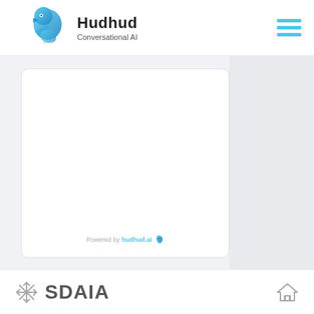[Figure (logo): Hudhud Conversational AI logo with bird icon in blue gradient, brand name 'Hudhud' in bold dark text, tagline 'Conversational AI' below, and hamburger menu icon on right]
[Figure (screenshot): Chat interface panel with white background, rounded corners, and 'Powered by hudhud.ai' watermark at bottom with small bird icon]
[Figure (logo): SDAIA logo at bottom left with snowflake-style icon and bold text 'SDAIA', and a house/building icon on the bottom right]